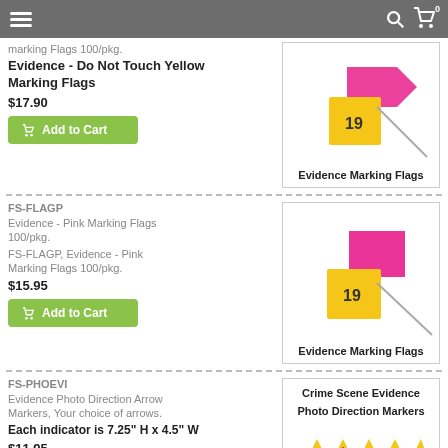Navigation header with hamburger menu, search, and cart icons
Marking Flags 100/pkg.
Evidence - Do Not Touch Yellow Marking Flags
$17.90
Add to Cart
[Figure (photo): Yellow evidence marking flag with pink top, product image labeled 'Evidence Marking Flags']
FS-FLAGP
Evidence - Pink Marking Flags 100/pkg.
FS-FLAGP, Evidence - Pink Marking Flags 100/pkg.
$15.95
Add to Cart
[Figure (photo): Yellow evidence marking flag with pink square top, product image labeled 'Evidence Marking Flags']
FS-PHOEVI
Evidence Photo Direction Arrow Markers, Your choice of arrows.
Each indicator is 7.25" H x 4.5" W
$11.95
Add to Cart
[Figure (photo): Crime scene evidence photo direction markers — yellow tent markers with arrows, labeled 'Crime Scene Evidence Photo Direction Markers' and 'Your Choice of Arrows']